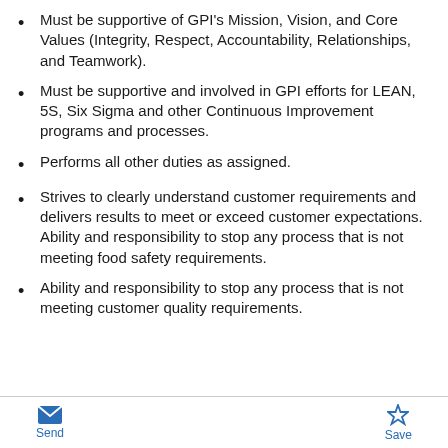Must be supportive of GPI's Mission, Vision, and Core Values (Integrity, Respect, Accountability, Relationships, and Teamwork).
Must be supportive and involved in GPI efforts for LEAN, 5S, Six Sigma and other Continuous Improvement programs and processes.
Performs all other duties as assigned.
Strives to clearly understand customer requirements and delivers results to meet or exceed customer expectations. Ability and responsibility to stop any process that is not meeting food safety requirements.
Ability and responsibility to stop any process that is not meeting customer quality requirements.
Send    Save